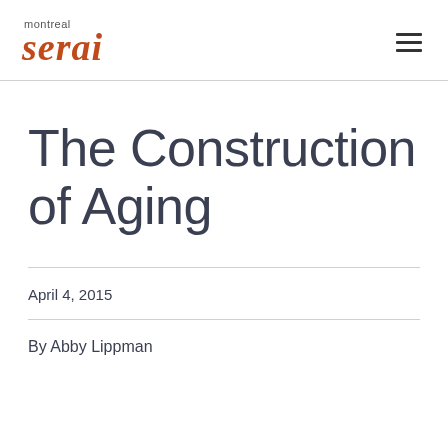montreal serai
The Construction of Aging
April 4, 2015
By Abby Lippman